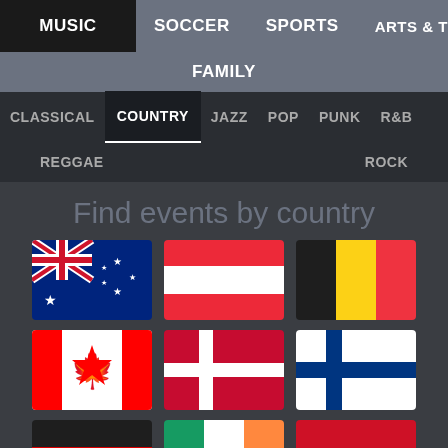MUSIC  SOCCER  SPORTS  ARTS & THEATRE  FAMILY
CLASSICAL  COUNTRY  JAZZ  POP  PUNK  R&B  REGGAE  ROCK
Find events by country
[Figure (illustration): Grid of country flags: Australia, Austria, Belgium, Canada, Denmark, Finland, Germany, Ireland, Indonesia (partial)]